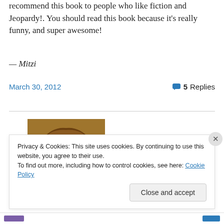recommend this book to people who like fiction and Jeopardy!. You should read this book because it's really funny, and super awesome!
— Mitzi
March 30, 2012
5 Replies
[Figure (photo): Partial avatar/profile photo showing top of a person's head with brown hair against a dark background]
Privacy & Cookies: This site uses cookies. By continuing to use this website, you agree to their use.
To find out more, including how to control cookies, see here: Cookie Policy
Close and accept